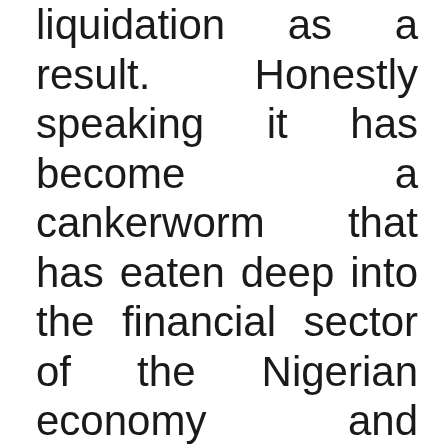liquidation as a result. Honestly speaking it has become a cankerworm that has eaten deep into the financial sector of the Nigerian economy and millions of Nigerian Cedis has been lost to fraudsters through these activities. It is these problems that has